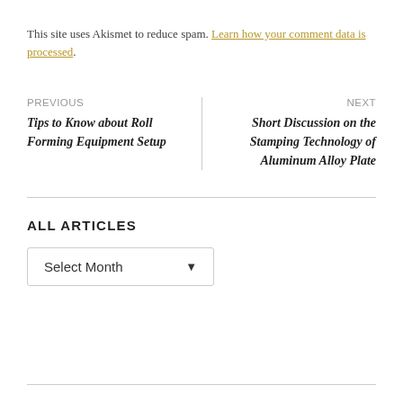This site uses Akismet to reduce spam. Learn how your comment data is processed.
PREVIOUS
Tips to Know about Roll Forming Equipment Setup
NEXT
Short Discussion on the Stamping Technology of Aluminum Alloy Plate
ALL ARTICLES
Select Month